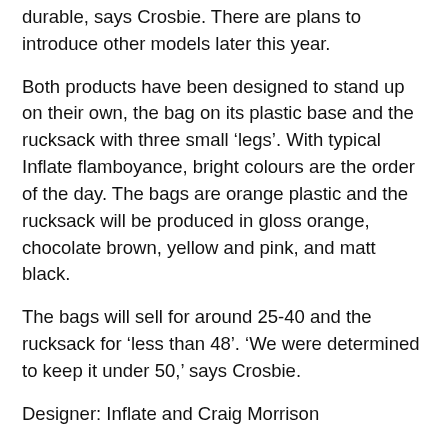durable, says Crosbie. There are plans to introduce other models later this year.
Both products have been designed to stand up on their own, the bag on its plastic base and the rucksack with three small ‘legs’. With typical Inflate flamboyance, bright colours are the order of the day. The bags are orange plastic and the rucksack will be produced in gloss orange, chocolate brown, yellow and pink, and matt black.
The bags will sell for around 25-40 and the rucksack for ‘less than 48’. ‘We were determined to keep it under 50,’ says Crosbie.
Designer: Inflate and Craig Morrison